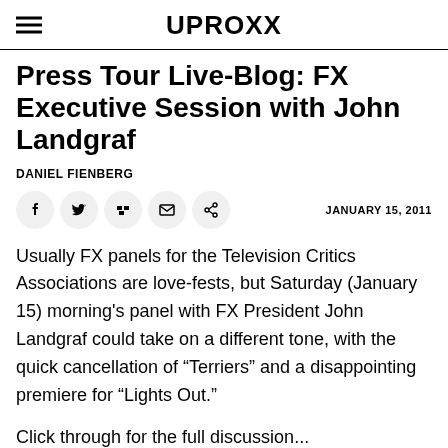UPROXX
Press Tour Live-Blog: FX Executive Session with John Landgraf
DANIEL FIENBERG
JANUARY 15, 2011
Usually FX panels for the Television Critics Associations are love-fests, but Saturday (January 15) morning's panel with FX President John Landgraf could take on a different tone, with the quick cancellation of “Terriers” and a disappointing premiere for “Lights Out.”
Click through for the full discussion...
9:33 a.m. The first big piece of news is that FX is in